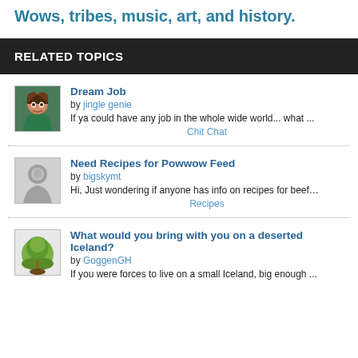Wows, tribes, music, art, and history.
RELATED TOPICS
Dream Job
by jingle genie
If ya could have any job in the whole wide world... what ...
Chit Chat
Need Recipes for Powwow Feed
by bigskymt
Hi, Just wondering if anyone has info on recipes for beef…
Recipes
What would you bring with you on a deserted Iceland?
by GoggenGH
If you were forces to live on a small Iceland, big enough ...